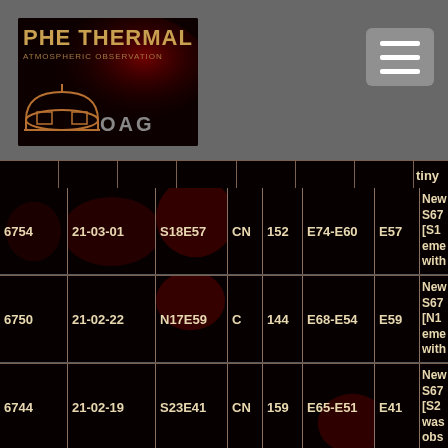PHE THERMAL OAG
| ID | Date | Location | Type | Num | Range | Val | Description |
| --- | --- | --- | --- | --- | --- | --- | --- |
| 6754 | 21-03-01 | S18E57 | CN | 152 | E74-E60 | E57 | New S67 [S18 eme with spo |
| 6750 | 21-02-22 | N17E59 | C | 144 | E68-E54 | E59 | New S67 [N1 eme with spo |
| 6744 | 21-02-19 | S23E41 | CN | 159 | E65-E51 | E41 | New S67 [S2 was obs with spo |